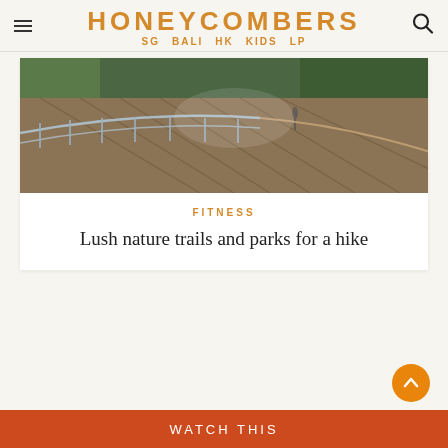HONEYCOMBERS SG BALI HK KIDS LP
[Figure (photo): Outdoor walkway/bridge with metal railings and wooden deck surrounded by lush greenery, shot with wide-angle perspective]
FITNESS
Lush nature trails and parks for a hike
WATCH THIS